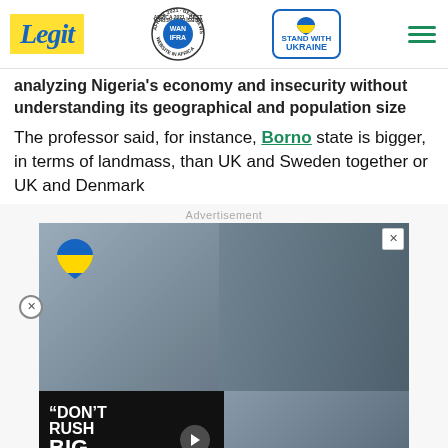Legit | WAN IFRA 2021 Best News Website in Africa | Stand With Ukraine
analyzing Nigeria's economy and insecurity without understanding its geographical and population size
The professor said, for instance, Borno state is bigger, in terms of landmass, than UK and Sweden together or UK and Denmark
Advertisement
[Figure (photo): Advertisement image with Ukraine heart badge, showing a couple and evacuation scene. Video panel with 'DON'T RUSH BIG DADDY' text and play button.]
[Figure (infographic): Legit Charity banner: YOUR SUPPORT MATTERS! SAVE THE LIFE OF GIRL AT RISK. Donate now button.]